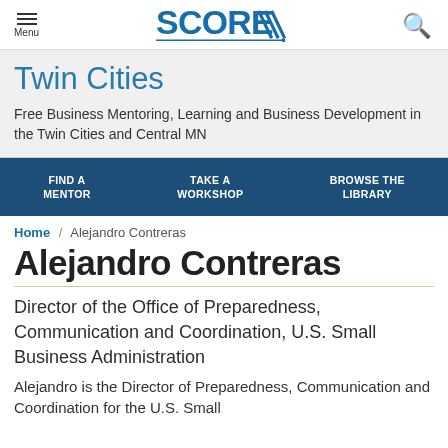SCORE - Menu / Search
Twin Cities
Free Business Mentoring, Learning and Business Development in the Twin Cities and Central MN
FIND A MENTOR / TAKE A WORKSHOP / BROWSE THE LIBRARY
Home / Alejandro Contreras
Alejandro Contreras
Director of the Office of Preparedness, Communication and Coordination, U.S. Small Business Administration
Alejandro is the Director of Preparedness, Communication and Coordination for the U.S. Small